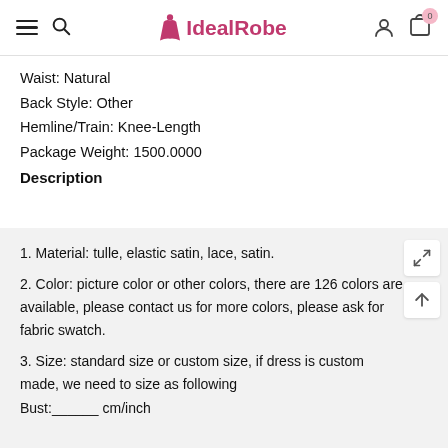IdealRobe
Waist: Natural
Back Style: Other
Hemline/Train: Knee-Length
Package Weight: 1500.0000
Description
1. Material: tulle, elastic satin, lace, satin.
2. Color: picture color or other colors, there are 126 colors are available, please contact us for more colors, please ask for fabric swatch.
3. Size: standard size or custom size, if dress is custom made, we need to size as following
Bust:______ cm/inch